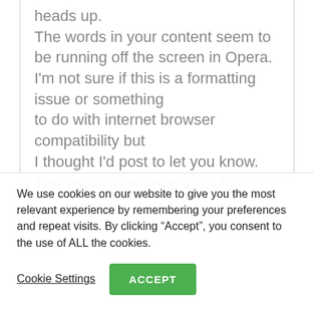Hello just wanted to give you a quick heads up. The words in your content seem to be running off the screen in Opera. I'm not sure if this is a formatting issue or something to do with internet browser compatibility but I thought I'd post to let you know. The layout look great though!
We use cookies on our website to give you the most relevant experience by remembering your preferences and repeat visits. By clicking "Accept", you consent to the use of ALL the cookies.
Cookie Settings
ACCEPT